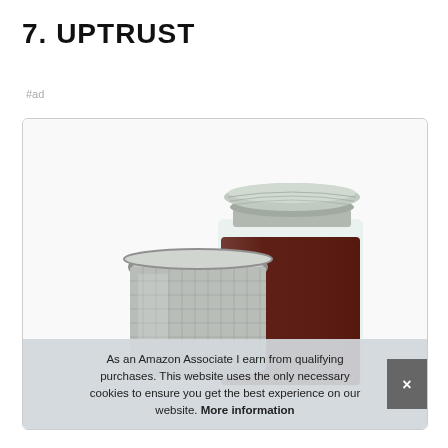7. UPTRUST
#ad
[Figure (photo): Product photo of a stainless steel tea strainer/filter next to a mason jar filled with dark liquid (cold brew coffee or tea), both with metallic lids, on a white background inside a rounded-corner card.]
As an Amazon Associate I earn from qualifying purchases. This website uses the only necessary cookies to ensure you get the best experience on our website. More information